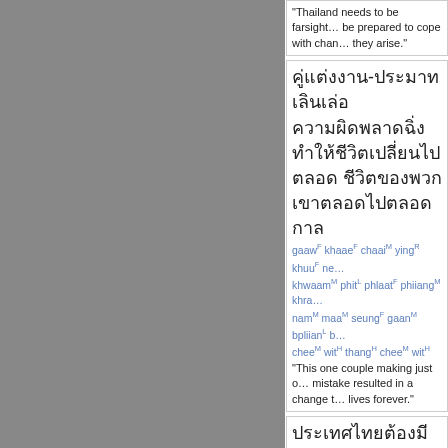"Thailand needs to be farsighted and be prepared to cope with changes as they arise."
Thai script block 1 (section with gaawF khaaeF chaaiM yingR khuuF ... romanized annotation)
"This one couple making just one mistake resulted in a change to their lives forever."
Thai script block 2 (section with laaeoH gaawF aawnL waiR dtaawL pha... romanized annotation)